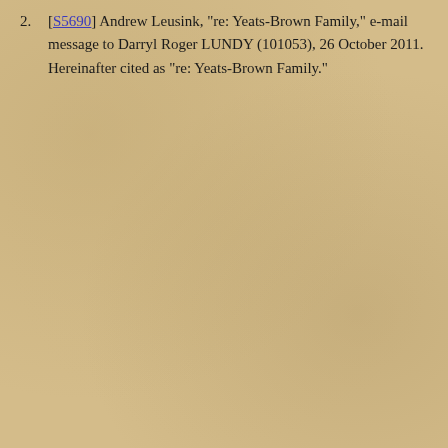2. [S5690] Andrew Leusink, "re: Yeats-Brown Family," e-mail message to Darryl Roger LUNDY (101053), 26 October 2011. Hereinafter cited as "re: Yeats-Brown Family."